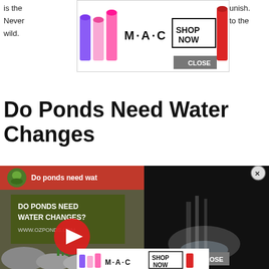is the … unish.
Never … to the wild.
[Figure (screenshot): MAC cosmetics advertisement banner with lipsticks, MAC logo, SHOP NOW button, and CLOSE button]
Do Ponds Need Water Changes
[Figure (screenshot): YouTube video embed titled 'Do ponds need wa...' showing pond scene with text overlay 'DO PONDS NEED WATER CHANGES? WWW.OZPONDS.COM', YouTube play button, CLOSE button, and MAC cosmetics ad at bottom]